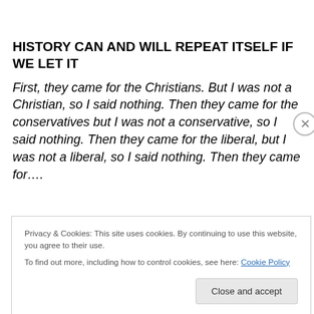HISTORY CAN AND WILL REPEAT ITSELF IF WE LET IT
First, they came for the Christians. But I was not a Christian, so I said nothing. Then they came for the conservatives but I was not a conservative, so I said nothing. Then they came for the liberal, but I was not a liberal, so I said nothing. Then they came for….
Privacy & Cookies: This site uses cookies. By continuing to use this website, you agree to their use. To find out more, including how to control cookies, see here: Cookie Policy